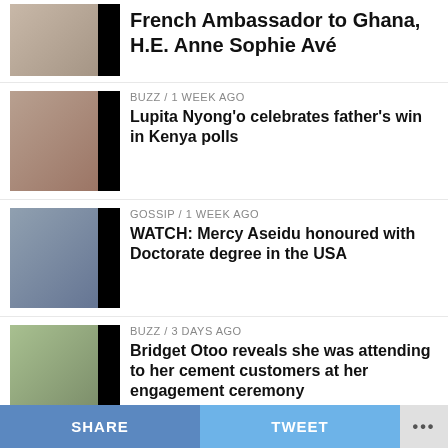French Ambassador to Ghana, H.E. Anne Sophie Avé
BUZZ / 1 week ago
Lupita Nyong'o celebrates father's win in Kenya polls
GOSSIP / 1 week ago
WATCH: Mercy Aseidu honoured with Doctorate degree in the USA
BUZZ / 3 days ago
Bridget Otoo reveals she was attending to her cement customers at her engagement ceremony
BUZZ / 3 days ago
"But why?"- Afia